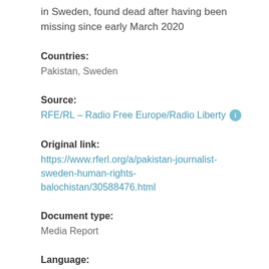in Sweden, found dead after having been missing since early March 2020
Countries:
Pakistan, Sweden
Source:
RFE/RL – Radio Free Europe/Radio Liberty
Original link:
https://www.rferl.org/a/pakistan-journalist-sweden-human-rights-balochistan/30588476.html
Document type:
Media Report
Language:
English
Published:
2 May 2020